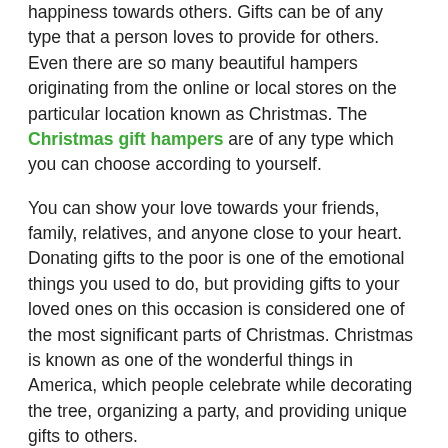happiness towards others. Gifts can be of any type that a person loves to provide for others. Even there are so many beautiful hampers originating from the online or local stores on the particular location known as Christmas. The Christmas gift hampers are of any type which you can choose according to yourself.
You can show your love towards your friends, family, relatives, and anyone close to your heart. Donating gifts to the poor is one of the emotional things you used to do, but providing gifts to your loved ones on this occasion is considered one of the most significant parts of Christmas. Christmas is known as one of the wonderful things in America, which people celebrate while decorating the tree, organizing a party, and providing unique gifts to others.
What is the reason for providing gifts hampers to your loved ones?